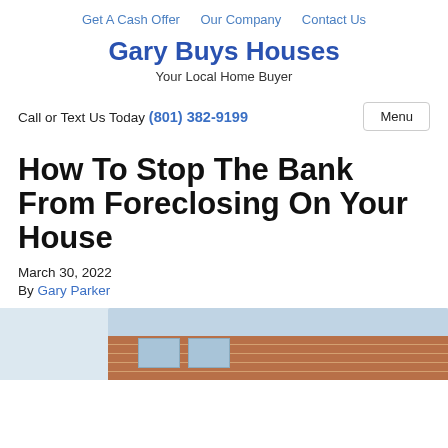Get A Cash Offer   Our Company   Contact Us
Gary Buys Houses
Your Local Home Buyer
Call or Text Us Today (801) 382-9199
How To Stop The Bank From Foreclosing On Your House
March 30, 2022
By Gary Parker
[Figure (photo): Photo of a man standing in front of a brick building with windows]